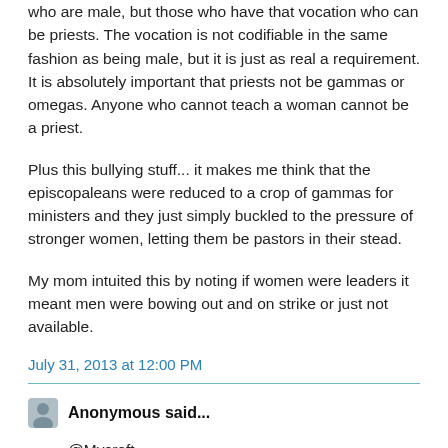who are male, but those who have that vocation who can be priests. The vocation is not codifiable in the same fashion as being male, but it is just as real a requirement. It is absolutely important that priests not be gammas or omegas. Anyone who cannot teach a woman cannot be a priest.
Plus this bullying stuff... it makes me think that the episcopaleans were reduced to a crop of gammas for ministers and they just simply buckled to the pressure of stronger women, letting them be pastors in their stead.
My mom intuited this by noting if women were leaders it meant men were bowing out and on strike or just not available.
July 31, 2013 at 12:00 PM
Anonymous said...
@Mycroft
Am aware of the subject, but think about asexual women